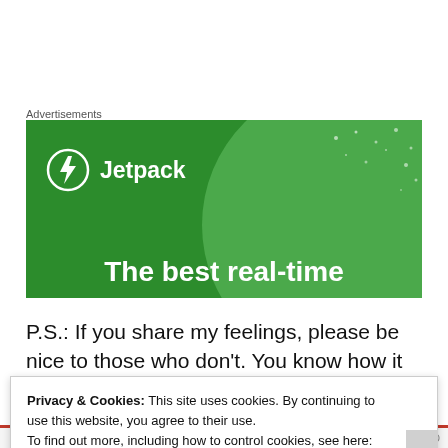Advertisements
[Figure (screenshot): Jetpack advertisement banner with green background, circular light green overlay, white dots, Jetpack logo with lightning bolt icon, and tagline 'The best real-time']
P.S.: If you share my feelings, please be nice to those who don't. You know how it feels to have a close race fall apart at the seams and leave you wondering whether the hopes and
Privacy & Cookies: This site uses cookies. By continuing to use this website, you agree to their use.
To find out more, including how to control cookies, see here: Cookie Policy
Close and accept